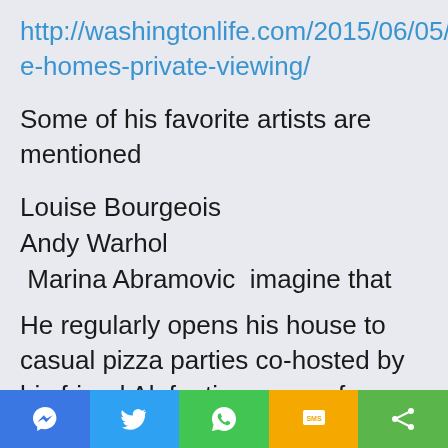http://washingtonlife.com/2015/06/05/inside-homes-private-viewing/
Some of his favorite artists are mentioned
Louise Bourgeois
Andy Warhol
Marina Abramovic  imagine that
He regularly opens his house to casual pizza parties co-hosted by his friend Alefantis, owner of Comet Ping Pong. Over 200 pies emerge from
[Figure (other): Social sharing toolbar with Messenger, Twitter, WhatsApp, SMS, and Share buttons]